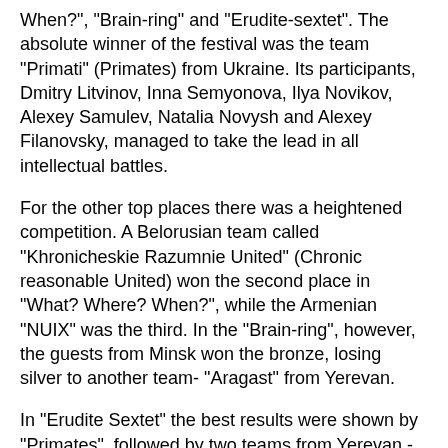When?", “Brain-ring” and “Erudite-sextet”. The absolute winner of the festival was the team “Primati” (Primates) from Ukraine. Its participants, Dmitry Litvinov, Inna Semyonova, Ilya Novikov, Alexey Samulev, Natalia Novysh and Alexey Filanovsky, managed to take the lead in all intellectual battles.
For the other top places there was a heightened competition. A Belorusian team called “Khronicheskie Razumnie United” (Chronic reasonable United) won the second place in “What? Where? When?”, while the Armenian “NUIX” was the third. In the “Brain-ring”, however, the guests from Minsk won the bronze, losing silver to another team- "Aragast" from Yerevan.
In "Erudite Sextet" the best results were shown by "Primates", followed by two teams from Yerevan - "Hayastan" and "Anfield", and "Gambler" from Moscow.
“Congratulations to the winners and participants of the